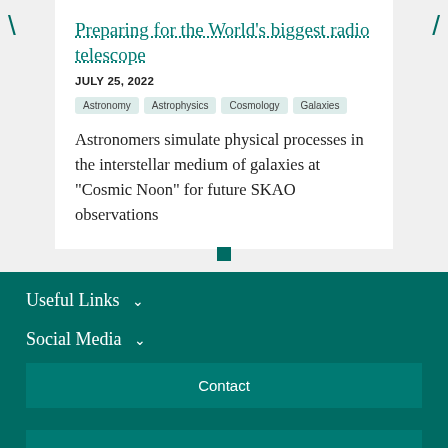Preparing for the World's biggest radio telescope
JULY 25, 2022
Astronomy
Astrophysics
Cosmology
Galaxies
Astronomers simulate physical processes in the interstellar medium of galaxies at "Cosmic Noon" for future SKAO observations
Useful Links
Social Media
Contact